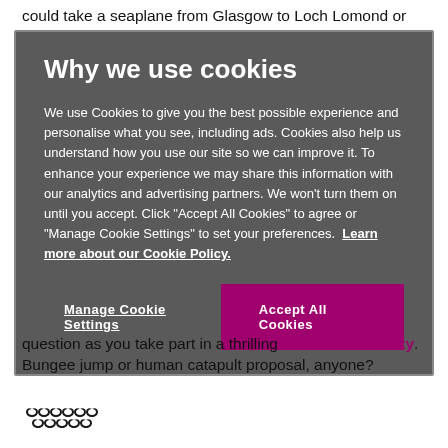could take a seaplane from Glasgow to Loch Lomond or
[Figure (screenshot): Cookie consent modal overlay with dark gray background. Title: 'Why we use cookies'. Body text about cookie usage and a link 'Learn more about our Cookie Policy.' Two buttons: 'Manage Cookie Settings' (text/underlined) and 'Accept All Cookies' (magenta filled button).]
question as you take part in a thrilling adventure activity. Bungee jump or human catapult proposal, anyone?
[Figure (logo): Decorative chain/knot pattern logo in dark color]